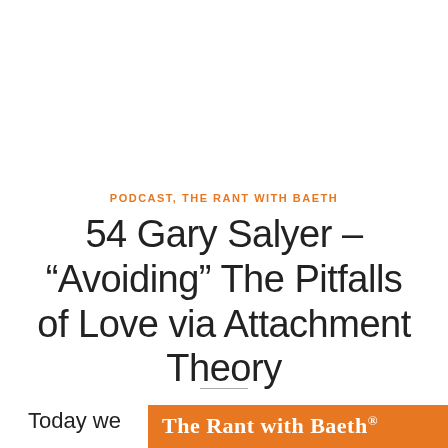PODCAST, THE RANT WITH BAETH
54 Gary Salyer – “Avoiding” The Pitfalls of Love via Attachment Theory
Today we
[Figure (logo): The Rant with Baeth orange banner logo]